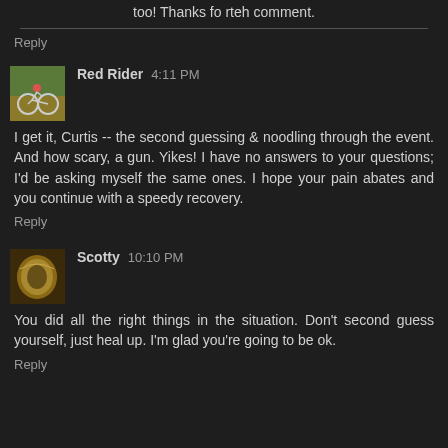too! Thanks fo rteh comment.
Reply
Red Rider  4:11 PM
I get it, Curtis -- the second guessing & noodling through the event. And how scary, a gun. Yikes! I have no answers to your questions; I'd be asking myself the same ones. I hope your pain abates and you continue with a speedy recovery.
Reply
Scotty  10:10 PM
You did all the right things in the situation. Don't second guess yourself, just heal up. I'm glad you're going to be ok.
Reply